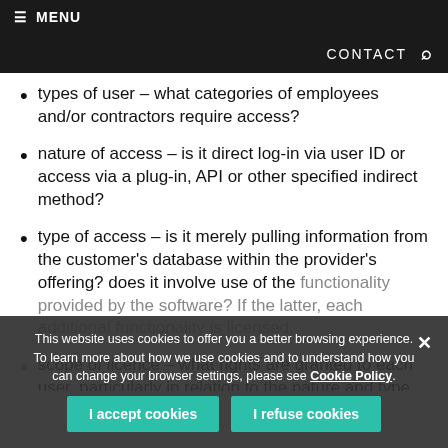≡ MENU
CONTACT 🔍
types of user – what categories of employees and/or contractors require access?
nature of access – is it direct log-in via user ID or access via a plug-in, API or other specified indirect method?
type of access – is it merely pulling information from the customer's database within the provider's offering? does it involve use of the functionality provided by the software? If the latter, each additional functionality is licensed.
scope of licence – what rights are granted to each user, particularly in relation to the nature and type of access?
This website uses cookies to offer you a better browsing experience. To learn more about how we use cookies and to understand how you can change your browser settings, please see Cookie Policy. × I accept cookies I refuse cookies